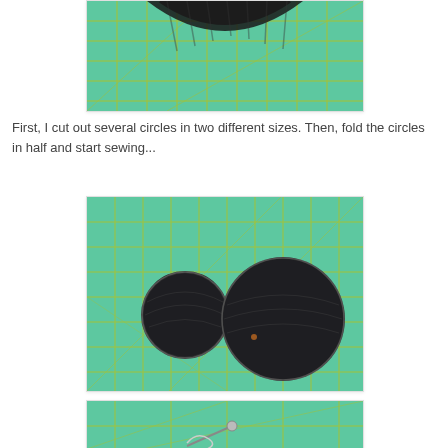[Figure (photo): Top photo showing a partial circular shape on a green cutting mat with yellow grid lines, with dark denim/fabric material visible]
First, I cut out several circles in two different sizes. Then, fold the circles in half and start sewing...
[Figure (photo): Photo showing two stacks of dark circular fabric pieces of different sizes placed on a green cutting mat with yellow grid lines — a smaller circle on the left and a larger circle on the right]
[Figure (photo): Partial photo at the bottom showing a green cutting mat with what appears to be a needle or pin and some thread or small objects visible at the bottom edge]